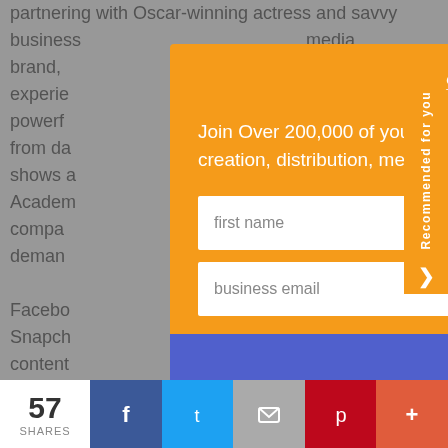partnering with Oscar-winning actress and savvy businessmedia brand, the experience over powerful ms, from da evision shows a Academy iction company demand Facebook d Snapch m content branding
Sign Up Now
Join Over 200,000 of your Peers and get how-to guidance and advice on content creation, distribution, measurement, and more delivered daily to your inbox.
first name
business email
Sign Up Now
Recommended for you
57 SHARES